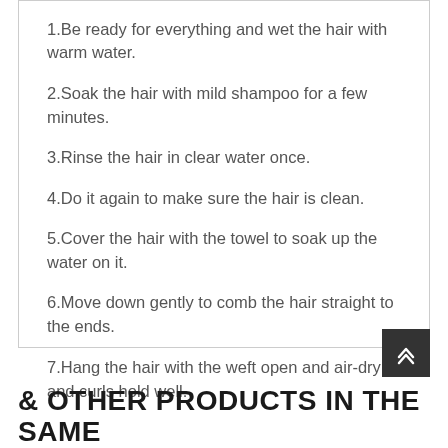1.Be ready for everything and wet the hair with warm water.
2.Soak the hair with mild shampoo for a few minutes.
3.Rinse the hair in clear water once.
4.Do it again to make sure the hair is clean.
5.Cover the hair with the towel to soak up the water on it.
6.Move down gently to comb the hair straight to the ends.
7.Hang the hair with the weft open and air-dry it and curls hold well.
& OTHER PRODUCTS IN THE SAME